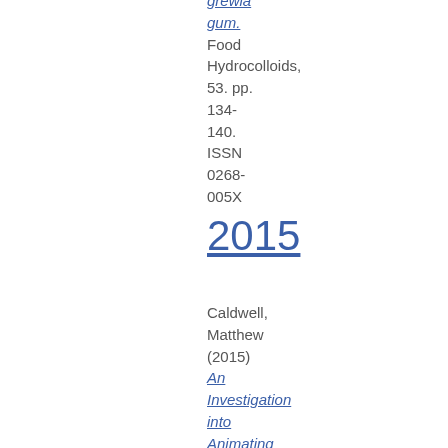grewia gum. Food Hydrocolloids, 53. pp. 134-140. ISSN 0268-005X
2015
Caldwell, Matthew (2015) An Investigation into Animating Plant